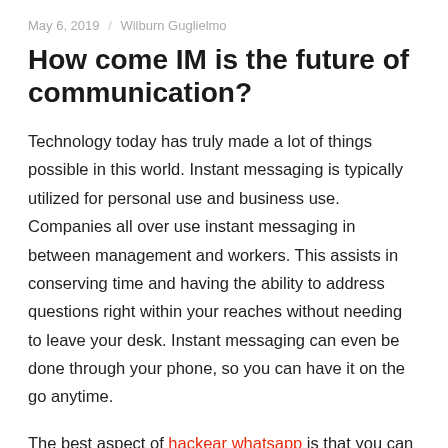May 6, 2019 / Wilburn Guglielmo
How come IM is the future of communication?
Technology today has truly made a lot of things possible in this world. Instant messaging is typically utilized for personal use and business use. Companies all over use instant messaging in between management and workers. This assists in conserving time and having the ability to address questions right within your reaches without needing to leave your desk. Instant messaging can even be done through your phone, so you can have it on the go anytime.
The best aspect of hackear whatsapp is that you can message liked ones no matter where you lie. This is